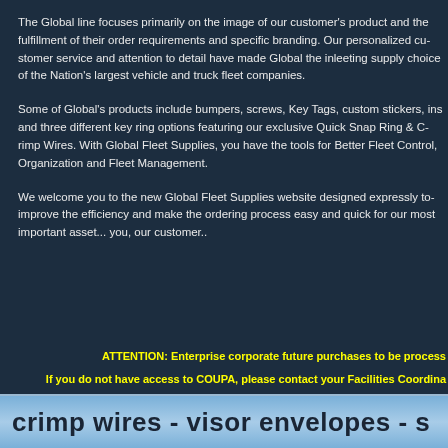The Global line focuses primarily on the image of our customer's product and the fulfillment of their order requirements and specific branding. Our personalized customer service and attention to detail have made Global the inleeting supply choice of the Nation's largest vehicle and truck fleet companies.
Some of Global's products include bumpers, screws, Key Tags, custom stickers, and three different key ring options featuring our exclusive Quick Snap Ring & Crimp Wires. With Global Fleet Supplies, you have the tools for Better Fleet Control, Organization and Fleet Management.
We welcome you to the new Global Fleet Supplies website designed expressly to improve the efficiency and make the ordering process easy and quick for our most important asset... you, our customer..
ATTENTION: Enterprise corporate future purchases to be processed
If you do not have access to COUPA, please contact your Facilities Coordinator
For your convenience, we can be found
crimp wires - visor envelopes - s